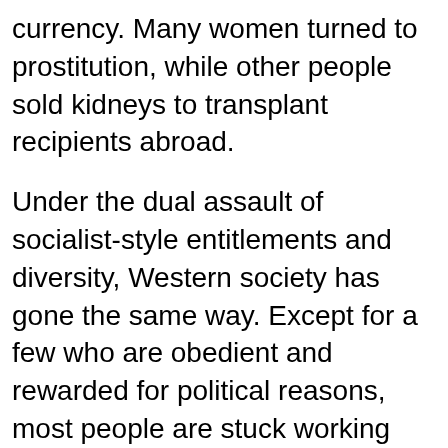currency. Many women turned to prostitution, while other people sold kidneys to transplant recipients abroad.
Under the dual assault of socialist-style entitlements and diversity, Western society has gone the same way. Except for a few who are obedient and rewarded for political reasons, most people are stuck working pointless jobs doing unnecessary things for most of their lives.
The outbreak of pedophilia and “Sugar Daddy” style arrangements shows us that at